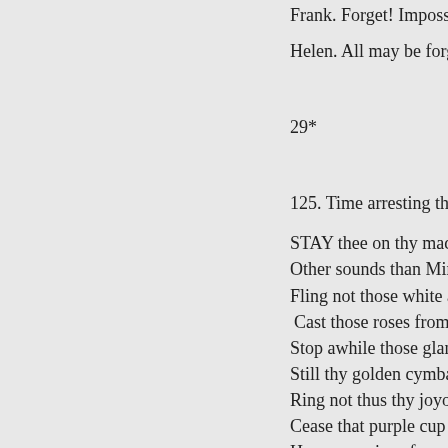Frank. Forget! Impossible!
Helen. All may be forgotten bu
29*
125. Time arresting the Career o
STAY thee on thy mad care
Other sounds than Mirth's a
Fling not those white arms i
Cast those roses from thy h
Stop awhile those glancing
Still thy golden cymbals' be
Ring not thus thy joyous lau
Cease that purple cup to qua
Hear my voice of warning,
Stay thee on thy mad career
Raise thine eyes to yonder s
There is writ thy destiny;
Clouds have veiled the new
Stars have fallen from their
These are emblems of the fa